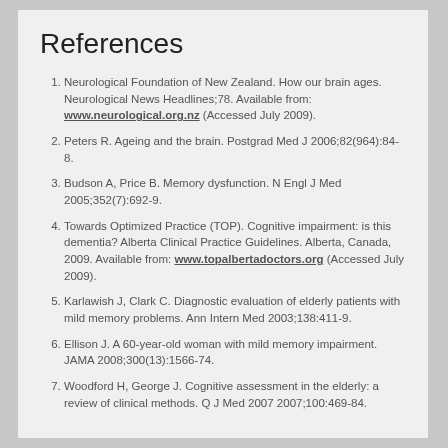References
Neurological Foundation of New Zealand. How our brain ages. Neurological News Headlines;78. Available from: www.neurological.org.nz (Accessed July 2009).
Peters R. Ageing and the brain. Postgrad Med J 2006;82(964):84-8.
Budson A, Price B. Memory dysfunction. N Engl J Med 2005;352(7):692-9.
Towards Optimized Practice (TOP). Cognitive impairment: is this dementia? Alberta Clinical Practice Guidelines. Alberta, Canada, 2009. Available from: www.topalbertadoctors.org (Accessed July 2009).
Karlawish J, Clark C. Diagnostic evaluation of elderly patients with mild memory problems. Ann Intern Med 2003;138:411-9.
Ellison J. A 60-year-old woman with mild memory impairment. JAMA 2008;300(13):1566-74.
Woodford H, George J. Cognitive assessment in the elderly: a review of clinical methods. Q J Med 2007 2007;100:469-84.